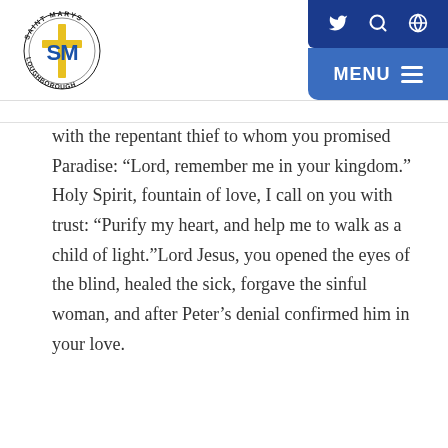[Figure (logo): Saint Marys Loughborough school crest/logo with stylized SM letters and cross in blue and yellow]
Navigation icons (Twitter, Search, Globe) and MENU button
with the repentant thief to whom you promised Paradise: “Lord, remember me in your kingdom.” Holy Spirit, fountain of love, I call on you with trust: “Purify my heart, and help me to walk as a child of light.”Lord Jesus, you opened the eyes of the blind, healed the sick, forgave the sinful woman, and after Peter’s denial confirmed him in your love.